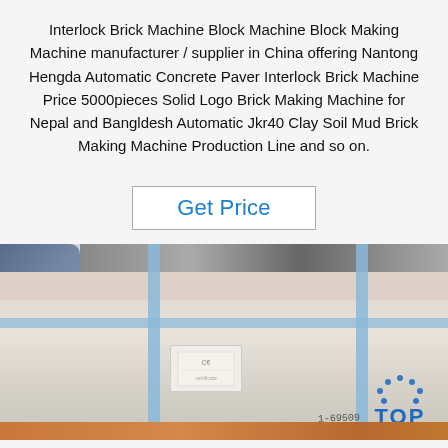Interlock Brick Machine Block Machine Block Making Machine manufacturer / supplier in China offering Nantong Hengda Automatic Concrete Paver Interlock Brick Machine Price 5000pieces Solid Logo Brick Making Machine for Nepal and Bangldesh Automatic Jkr40 Clay Soil Mud Brick Making Machine Production Line and so on.
Get Price
[Figure (photo): Photo of packaged industrial machinery (likely a brick-making machine) wrapped in cream/beige wrapping with blue plastic straps, placed on a pallet. A person in a blue plaid jacket is visible on the left side. A CE label sticker is on the front of the package. A TOP logo with blue dots arranged in an arc appears in the bottom right corner. Bottom of image shows an orange/brown wooden pallet base with what appears to be a handwritten number.]